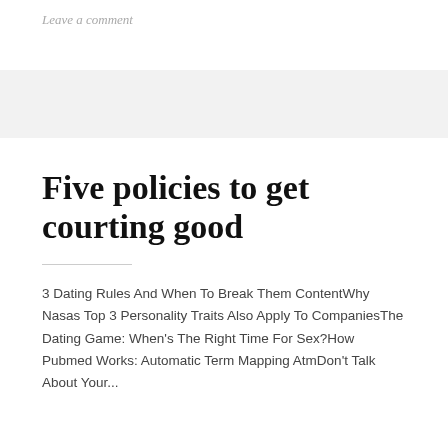Leave a comment
Five policies to get courting good
3 Dating Rules And When To Break Them ContentWhy Nasas Top 3 Personality Traits Also Apply To CompaniesThe Dating Game: When's The Right Time For Sex?How Pubmed Works: Automatic Term Mapping AtmDon't Talk About Your...